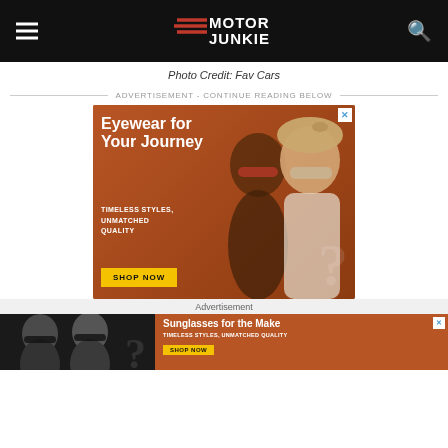[Figure (logo): Motor Junkie website header with hamburger menu icon on left, Motor Junkie logo in center, and search icon on right, on black background]
Photo Credit: Fav Cars
ADVERTISEMENT - CONTINUE READING BELOW
[Figure (photo): Advertisement for eyewear: 'Eyewear for Your Journey' with two women wearing sunglasses on orange/brown background. Text: TIMELESS STYLES, UNMATCHED QUALITY. Yellow SHOP NOW button.]
Advertisement
[Figure (photo): Bottom banner advertisement for sunglasses showing women wearing sunglasses. Text: 'Sunglasses for the Make' with TIMELESS STYLES, UNMATCHED QUALITY and SHOP NOW button.]